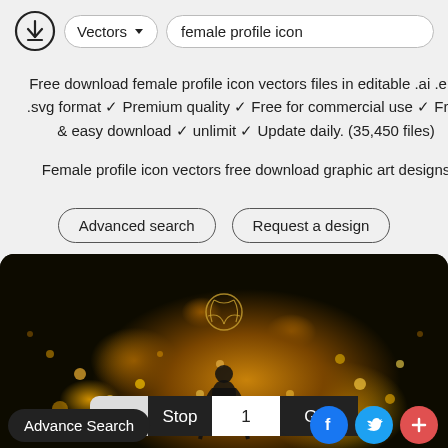[Figure (screenshot): Website header with download icon, Vectors dropdown button, and 'female profile icon' search bar]
Free download female profile icon vectors files in editable .ai .eps .svg format ✓ Premium quality ✓ Free for commercial use ✓ Free & easy download ✓ unlimit ✓ Update daily. (35,450 files)
Female profile icon vectors free download graphic art designs
Advanced search
Request a design
[Figure (illustration): Dark golden bokeh background with volleyball icon and female silhouette, pagination bar showing Page: Stop 1 Go!, and social icons (Facebook, Twitter, plus button). Advance Search button bottom left.]